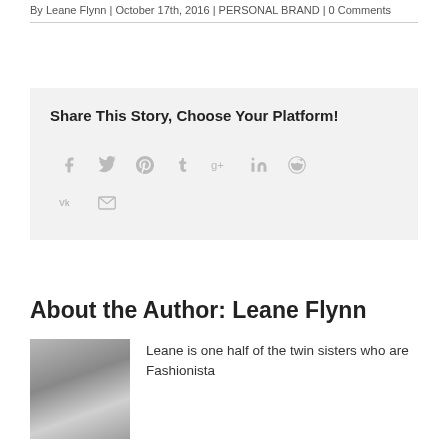By Leane Flynn | October 17th, 2016 | PERSONAL BRAND | 0 Comments
Share This Story, Choose Your Platform!
[Figure (other): Social media sharing icons: Facebook, Twitter, Pinterest, Tumblr, Google+, LinkedIn, Reddit, VK, Email]
About the Author: Leane Flynn
[Figure (photo): Black and white photo of Leane Flynn, a woman with blonde hair]
Leane is one half of the twin sisters who are Fashionista